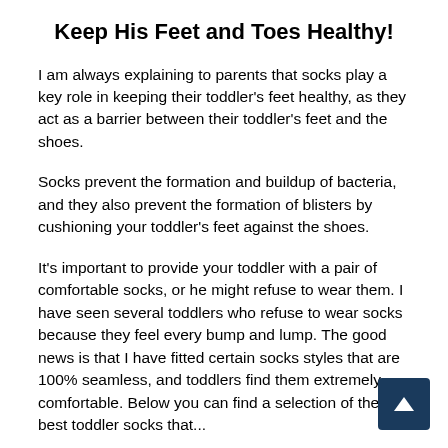Keep His Feet and Toes Healthy!
I am always explaining to parents that socks play a key role in keeping their toddler's feet healthy, as they act as a barrier between their toddler's feet and the shoes.
Socks prevent the formation and buildup of bacteria, and they also prevent the formation of blisters by cushioning your toddler's feet against the shoes.
It's important to provide your toddler with a pair of comfortable socks, or he might refuse to wear them. I have seen several toddlers who refuse to wear socks because they feel every bump and lump. The good news is that I have fitted certain socks styles that are 100% seamless, and toddlers find them extremely comfortable. Below you can find a selection of the best toddler socks that...